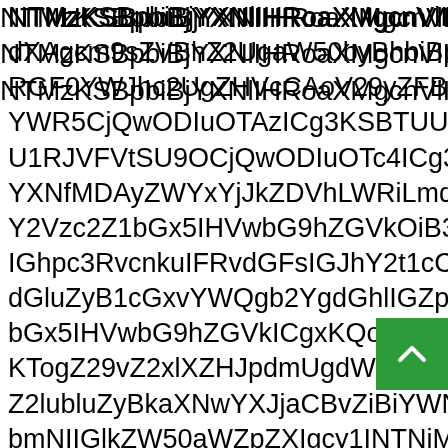NTMzKSBpbiBjYXNlIHRoaXMgcnVlIGdldHMgYWJvdXAgcm9sZVBhZ2UgaW50byBhbiBpbmRleCBwYWdlWVdJaGMyVWdaSFZjZ3hLUW8wTURnekxqRXlOQ0FvTnlrS1RvZ1o5dloybFpISnBkbVVnZDJsMGFDQnBibk4wWVc1alp TQW9Na29oWjJsdVp5QmthWE53WVhSamFDQnZaSVpHc29nSXdXZG1NZkRkMGFXVnpkQ0FvY21Wa0lHTlF5MVlJTlRoY0NBb1YyOXlaRkJ5Wlhoel...
[Figure (other): Green scroll-to-top button with upward chevron arrow icon]